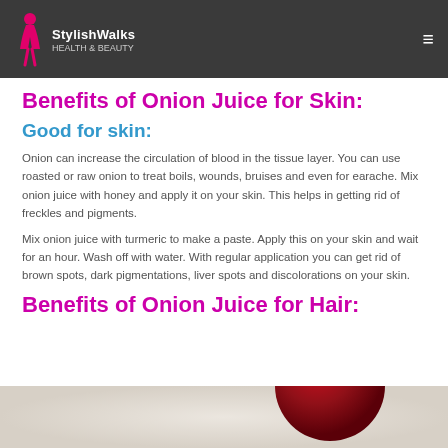StylishWalks
Benefits of Onion Juice for Skin:
Good for skin:
Onion can increase the circulation of blood in the tissue layer. You can use roasted or raw onion to treat boils, wounds, bruises and even for earache. Mix onion juice with honey and apply it on your skin. This helps in getting rid of freckles and pigments.
Mix onion juice with turmeric to make a paste. Apply this on your skin and wait for an hour. Wash off with water. With regular application you can get rid of brown spots, dark pigmentations, liver spots and discolorations on your skin.
Benefits of Onion Juice for Hair:
[Figure (photo): Partial photo of a red onion against a light/cream background, cropped at bottom of page]